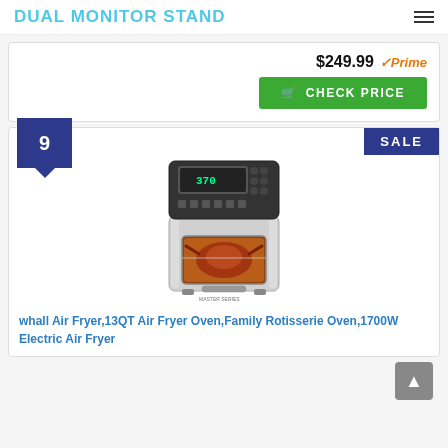DUAL MONITOR STAND
$249.99
CHECK PRICE
[Figure (photo): Air fryer oven product photo showing a stainless steel and black 13QT rotisserie air fryer oven with a digital display panel on top and a glass window showing a roasted chicken inside.]
9
SALE
whall Air Fryer,13QT Air Fryer Oven,Family Rotisserie Oven,1700W Electric Air Fryer